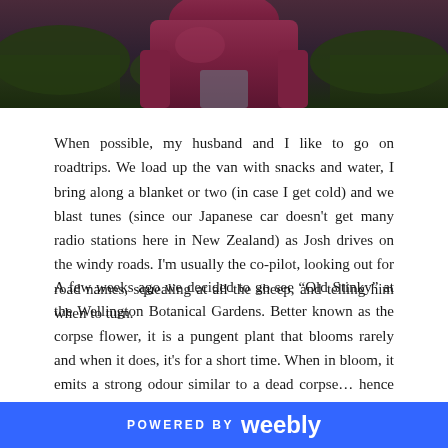[Figure (photo): Photo of a person in a dark maroon/purple jacket with trees and greenery in the background, cropped to show upper body]
When possible, my husband and I like to go on roadtrips. We load up the van with snacks and water, I bring along a blanket or two (in case I get cold) and we blast tunes (since our Japanese car doesn't get many radio stations here in New Zealand) as Josh drives on the windy roads. I'm usually the co-pilot, looking out for road names, squealing at all the sheep, and telling him when to turn.
A few weeks ago we decided to go see "Old Stinky" at the Wellington Botanical Gardens. Better known as the corpse flower, it is a pungent plant that blooms rarely and when it does, it's for a short time. When in bloom, it emits a strong odour similar to a dead corpse... hence the common name. And while we may not find it particularly appealing, the way these flowers look and smell are meant to attract pollinators. Carnivorous insects, such as dung beetles and flesh are the
POWERED BY weebly